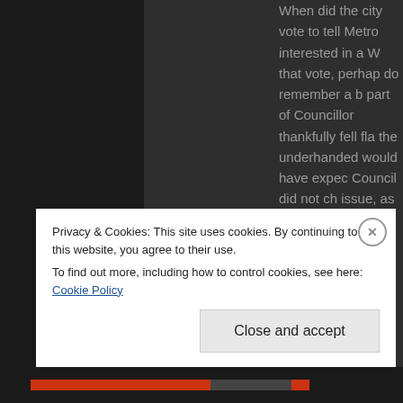When did the city vote to tell Metro interested in a W that vote, perhap do remember a b part of Councillor thankfully fell fla the underhanded would have expec Council did not ch issue, as they nev issue. 7 council m rdn directors vote letter to Metro Va Council of Nanim I have to say that?
Privacy & Cookies: This site uses cookies. By continuing to use this website, you agree to their use. To find out more, including how to control cookies, see here: Cookie Policy
Close and accept